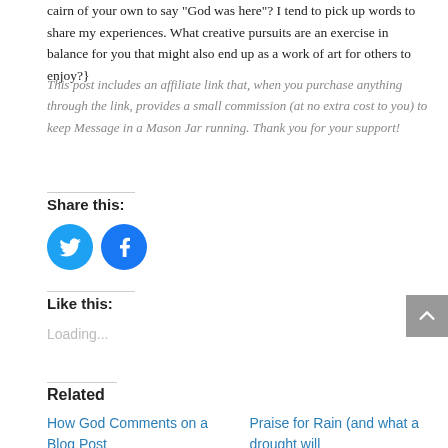cairn of your own to say “God was here”? I tend to pick up words to share my experiences. What creative pursuits are an exercise in balance for you that might also end up as a work of art for others to enjoy?}
This post includes an affiliate link that, when you purchase anything through the link, provides a small commission (at no extra cost to you) to keep Message in a Mason Jar running. Thank you for your support!
Share this:
[Figure (other): Twitter and Facebook share icon buttons (blue circles with white bird and f logos)]
Like this:
Loading...
Related
How God Comments on a Blog Post
Praise for Rain (and what a drought will